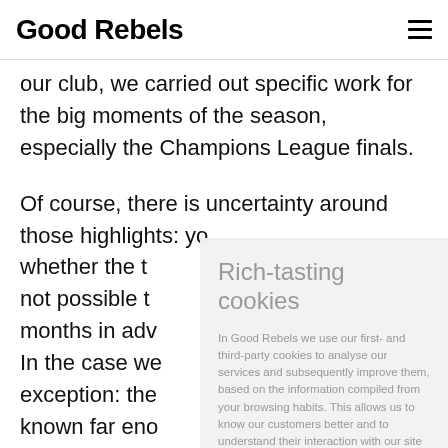Good Rebels
our club, we carried out specific work for the big moments of the season, especially the Champions League finals.
Of course, there is uncertainty around those highlights: yo... whether the t... not possible t... months in ad... In the case we... exception: the... known far eno... minisite.
Rich-tasting cookies
In Good Rebels we use our first- and third-party cookies to analyse our services and subsequently improve them, based on the information compiled from your browsing habits. This allows us to know our customers better and to understand their interaction with our site so that we can improve our services. Click HERE to obtain more information. You can